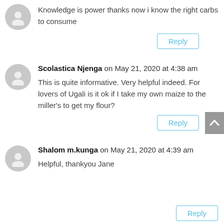Knowledge is power thanks now i know the right carbs to consume
Reply
Scolastica Njenga on May 21, 2020 at 4:38 am
This is quite informative. Very helpful indeed. For lovers of Ugali is it ok if I take my own maize to the miller's to get my flour?
Reply
Shalom m.kunga on May 21, 2020 at 4:39 am
Helpful, thankyou Jane
Reply